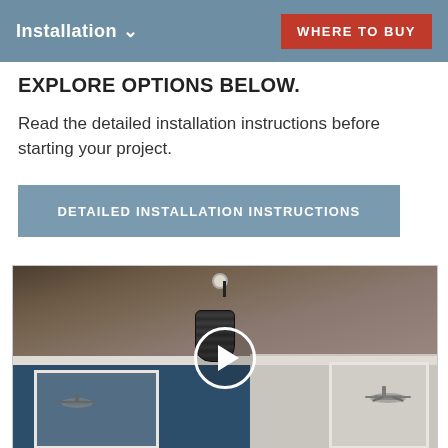Installation ∨    WHERE TO BUY
EXPLORE OPTIONS BELOW.
Read the detailed installation instructions before starting your project.
DETAILED INSTALLATION INSTRUCTIONS
[Figure (photo): Room interior showing a dark wood-plank ceiling with pendant light, navy blue wall with toy airplane decorations, and a play button overlay indicating a video]